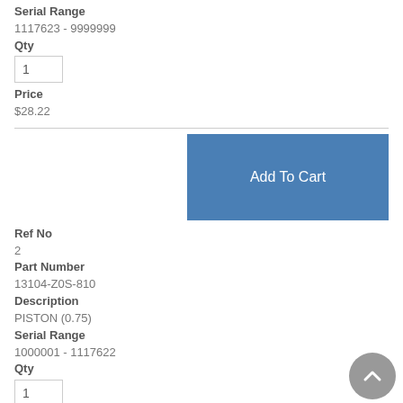Serial Range
1117623 - 9999999
Qty
1
Price
$28.22
Add To Cart
Ref No
2
Part Number
13104-Z0S-810
Description
PISTON (0.75)
Serial Range
1000001 - 1117622
Qty
1
Price
$32.02